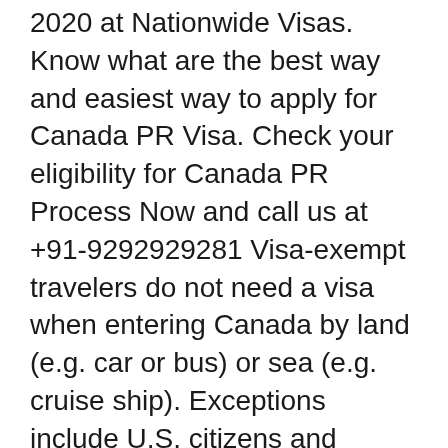2020 at Nationwide Visas. Know what are the best way and easiest way to apply for Canada PR Visa. Check your eligibility for Canada PR Process Now and call us at +91-9292929281 Visa-exempt travelers do not need a visa when entering Canada by land (e.g. car or bus) or sea (e.g. cruise ship). Exceptions include U.S. citizens and travelers with a valid Canadian visa. Canadian citizens, including dual citizens, and Canadian permanent residents cannot apply for a visa. To travel to Canada most visitors need: -
10/15/2013B B· Visa to USA for Canadian permanent residents. I am in canada for about a month and half and